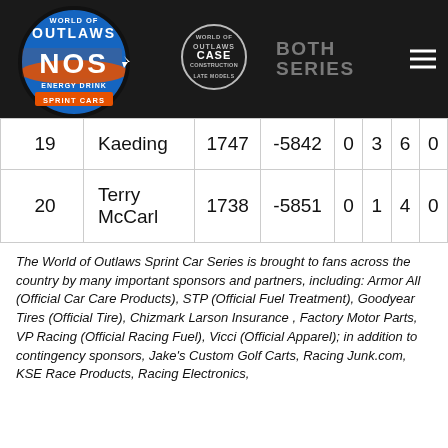[Figure (logo): World of Outlaws NOS Energy Drink Sprint Cars logo and navigation bar with CASE Construction Late Models logo, BOTH SERIES text, and hamburger menu]
| 19 | Kaeding | 1747 | -5842 | 0 | 3 | 6 | 0 |
| 20 | Terry McCarl | 1738 | -5851 | 0 | 1 | 4 | 0 |
The World of Outlaws Sprint Car Series is brought to fans across the country by many important sponsors and partners, including: Armor All (Official Car Care Products), STP (Official Fuel Treatment), Goodyear Tires (Official Tire), Chizmark Larson Insurance , Factory Motor Parts, VP Racing (Official Racing Fuel), Vicci (Official Apparel); in addition to contingency sponsors, Jake's Custom Golf Carts, Racing Junk.com, KSE Race Products, Racing Electronics,